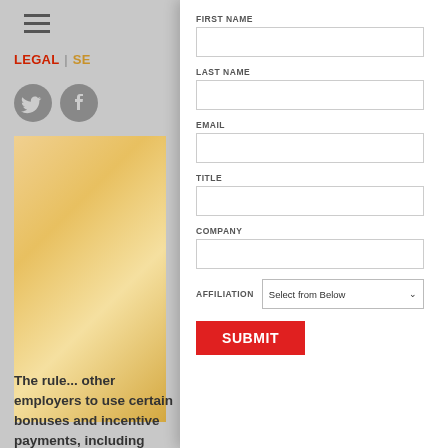LEGAL | SE
[Figure (screenshot): Screenshot of a website with a registration form overlay on the right side. The left background shows a gray navigation area with hamburger menu, LEGAL nav link in red, social media icons (Twitter, Facebook), and a photo of blond hair. The right side shows a white modal form with fields: FIRST NAME, LAST NAME, EMAIL, TITLE, COMPANY, AFFILIATION dropdown (Select from Below), and a red SUBMIT button.]
The rule... other employers to use certain bonuses and incentive payments, including commissions, to satisfy up to 10 percent of the standard salary